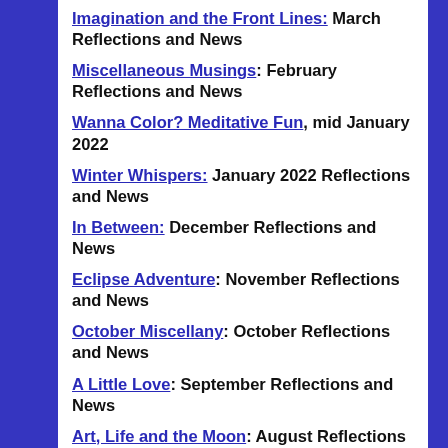Imagination and the Front Lines: March Reflections and News
Miscellaneous Musings: February Reflections and News
Wanna Color? Meditative Fun, mid January 2022
Winter Whispers: January 2022 Reflections and News
In Between: December Reflections and News
Eclipse Adventure: November Reflections and News
October Miscellany: October Reflections and News
A Little Love: September Reflections and News
Art, Life and the Moon: August Reflections and News
The Whirl of Late Spring: May Reflections and News